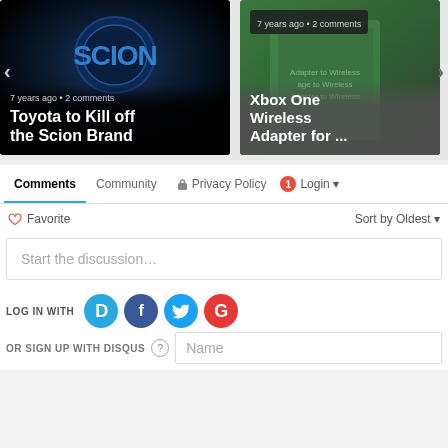[Figure (screenshot): Article carousel card - Toyota to Kill off the Scion Brand, 7 years ago, 2 comments]
[Figure (screenshot): Article carousel card - Xbox One Wireless Adapter for ..., 7 years ago, 2 comments]
Comments  Community  Privacy Policy  1  Login
Favorite  Sort by Oldest
Start the discussion…
LOG IN WITH
OR SIGN UP WITH DISQUS ?
Name